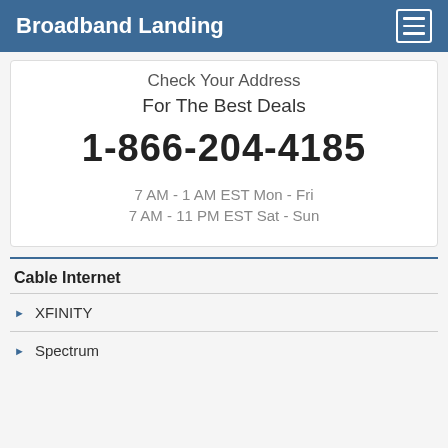Broadband Landing
Check Your Address For The Best Deals
1-866-204-4185
7 AM - 1 AM EST Mon - Fri
7 AM - 11 PM EST Sat - Sun
Cable Internet
XFINITY
Spectrum